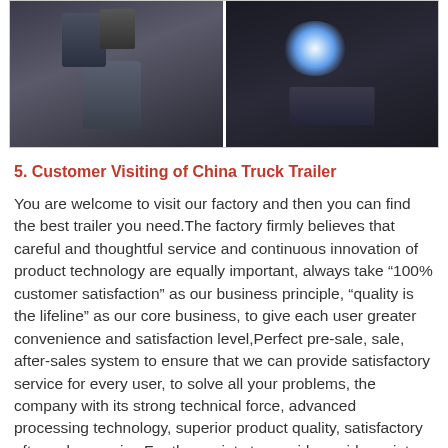[Figure (photo): Two side-by-side factory photos: left shows a worker in a dark industrial environment, right shows a bright welding arc flash.]
5. Customer Visiting of China Truck Trailer
You are welcome to visit our factory and then you can find the best trailer you need.The factory firmly believes that careful and thoughtful service and continuous innovation of product technology are equally important, always take “100% customer satisfaction” as our business principle, “quality is the lifeline” as our core business, to give each user greater convenience and satisfaction level,Perfect pre-sale, sale, after-sales system to ensure that we can provide satisfactory service for every user, to solve all your problems, the company with its strong technical force, advanced processing technology, superior product quality, satisfactory after-sales service,For the society to provide a wide variety of high-quality products, by the majority of customers